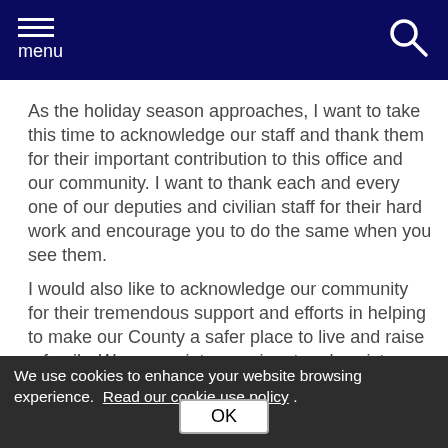menu
As the holiday season approaches, I want to take this time to acknowledge our staff and thank them for their important contribution to this office and our community. I want to thank each and every one of our deputies and civilian staff for their hard work and encourage you to do the same when you see them.
I would also like to acknowledge our community for their tremendous support and efforts in helping to make our County a safer place to live and raise a family. We appreciate your input and assistance and are happy to know our website is so important to so many of you.
We use cookies to enhance your website browsing experience.  Read our cookie use policy .
Contact   OK   Crime Tips